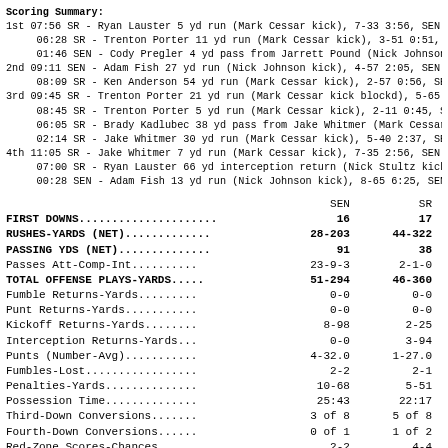Scoring Summary:
1st 07:56 SR - Ryan Lauster 5 yd run (Mark Cessar kick), 7-33 3:56, SEN 0
     06:28 SR - Trenton Porter 11 yd run (Mark Cessar kick), 3-51 0:51, SE
     01:46 SEN - Cody Pregler 4 yd pass from Jarrett Pound (Nick Johnson k
2nd 09:11 SEN - Adam Fish 27 yd run (Nick Johnson kick), 4-57 2:05, SEN 14
     08:09 SR - Ken Anderson 54 yd run (Mark Cessar kick), 2-57 0:56, SEN 1
3rd 09:45 SR - Trenton Porter 21 yd run (Mark Cessar kick blockd), 5-65 2
     08:45 SR - Trenton Porter 5 yd run (Mark Cessar kick), 2-11 0:45, SEN
     06:05 SR - Brady Kadlubec 38 yd pass from Jake Whitmer (Mark Cessar k
     02:14 SR - Jake Whitmer 30 yd run (Mark Cessar kick), 5-40 2:37, SEN 1
4th 11:05 SR - Jake Whitmer 7 yd run (Mark Cessar kick), 7-35 2:56, SEN 14
     07:00 SR - Ryan Lauster 66 yd interception return (Nick Stultz kick),
     00:28 SEN - Adam Fish 13 yd run (Nick Johnson kick), 8-65 6:25, SEN 2
|  | SEN | SR |
| --- | --- | --- |
| FIRST DOWNS................... | 16 | 17 |
| RUSHES-YARDS (NET)........... | 28-203 | 44-322 |
| PASSING YDS (NET)............ | 91 | 38 |
| Passes Att-Comp-Int.......... | 23-9-3 | 2-1-0 |
| TOTAL OFFENSE PLAYS-YARDS.... | 51-294 | 46-360 |
| Fumble Returns-Yards......... | 0-0 | 0-0 |
| Punt Returns-Yards........... | 0-0 | 0-0 |
| Kickoff Returns-Yards........ | 8-98 | 2-25 |
| Interception Returns-Yards... | 0-0 | 3-94 |
| Punts (Number-Avg)........... | 4-32.0 | 1-27.0 |
| Fumbles-Lost................. | 2-2 | 2-1 |
| Penalties-Yards.............. | 10-68 | 5-51 |
| Possession Time.............. | 25:43 | 22:17 |
| Third-Down Conversions....... | 3 of 8 | 5 of 8 |
| Fourth-Down Conversions...... | 0 of 1 | 1 of 2 |
| Red-Zone Scores-Chances...... | 2-2 | 4-4 |
| Sacks By: Number-Yards....... | 1-5 | 2-4 |